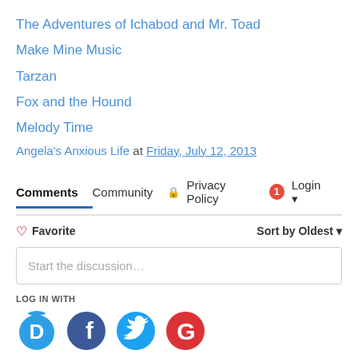The Adventures of Ichabod and Mr. Toad
Make Mine Music
Tarzan
Fox and the Hound
Melody Time
Angela's Anxious Life at Friday, July 12, 2013
Comments  Community  Privacy Policy  Login
Favorite  Sort by Oldest
Start the discussion...
LOG IN WITH
[Figure (infographic): Social login icons: Disqus (blue), Facebook (dark blue), Twitter (light blue), Google (red)]
OR SIGN UP WITH DISQUS
Name